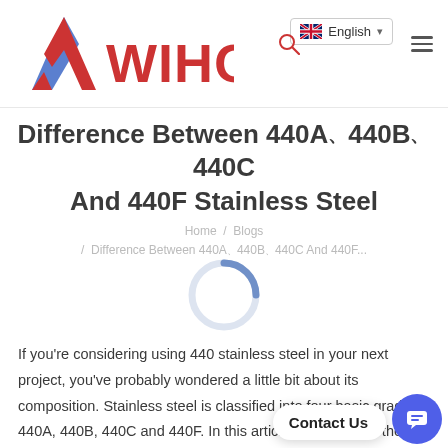[Figure (logo): AWIHO company logo with stylized A icon in blue and red, followed by WIHO text in red]
English (language selector with UK flag)
Difference Between 440A、440B、440C And 440F Stainless Steel
Home / Blogs / Difference Between 440A、440B、440C And 440F...
[Figure (other): Loading spinner circle, partially filled in blue-grey on white background]
If you're considering using 440 stainless steel in your next project, you've probably wondered a little bit about its composition. Stainless steel is classified into four basic grades: 440A, 440B, 440C and 440F. In this article, we'll discuss their characteristics, material properties, and application. R... be surprised how versatile and useful this material is!
Contact Us